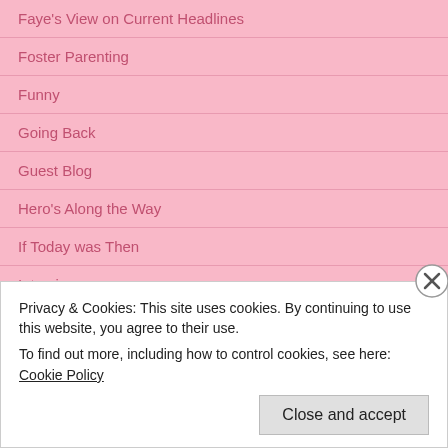Faye's View on Current Headlines
Foster Parenting
Funny
Going Back
Guest Blog
Hero's Along the Way
If Today was Then
Interviews
It's The Real World Out There!
Letters to the Apostle Paul from 2013
Marriage
Privacy & Cookies: This site uses cookies. By continuing to use this website, you agree to their use.
To find out more, including how to control cookies, see here: Cookie Policy
Close and accept